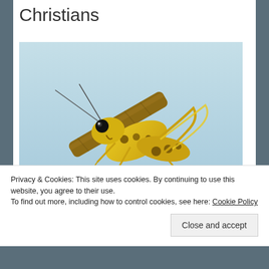Christians
[Figure (photo): Close-up photograph of a yellow and black spotted locust/grasshopper perched on a brown twig against a light blue sky background]
Privacy & Cookies: This site uses cookies. By continuing to use this website, you agree to their use.
To find out more, including how to control cookies, see here: Cookie Policy
Close and accept